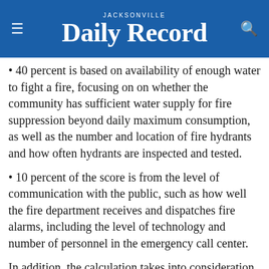JACKSONVILLE Daily Record
• 40 percent is based on availability of enough water to fight a fire, focusing on on whether the community has sufficient water supply for fire suppression beyond daily maximum consumption, as well as the number and location of fire hydrants and how often hydrants are inspected and tested.
• 10 percent of the score is from the level of communication with the public, such as how well the fire department receives and dispatches fire alarms, including the level of technology and number of personnel in the emergency call center.
In addition, the calculation takes into consideration...